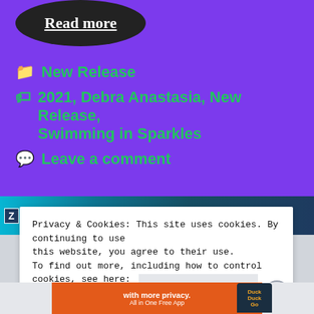[Figure (illustration): Read more button styled as a dark oval/ellipse with dashed border and white underlined text]
📁 New Release
🏷 2021, Debra Anastasia, New Release, Swimming in Sparkles
💬 Leave a comment
[Figure (screenshot): Blog post image strip showing ocean/water scene with Z icon]
Privacy & Cookies: This site uses cookies. By continuing to use this website, you agree to their use.
To find out more, including how to control cookies, see here:
Cookie Policy
[Figure (illustration): Close and accept button and X close button for cookie banner]
[Figure (illustration): DuckDuckGo advertisement banner: 'with more privacy. All in One Free App']